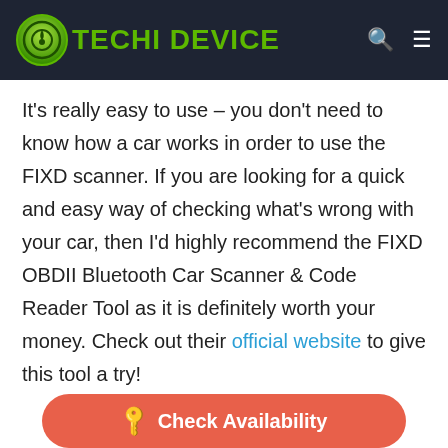TECHI DEVICE
It's really easy to use – you don't need to know how a car works in order to use the FIXD scanner. If you are looking for a quick and easy way of checking what's wrong with your car, then I'd highly recommend the FIXD OBDII Bluetooth Car Scanner & Code Reader Tool as it is definitely worth your money. Check out their official website to give this tool a try!
[Figure (other): Check Availability button in coral/orange-red color]